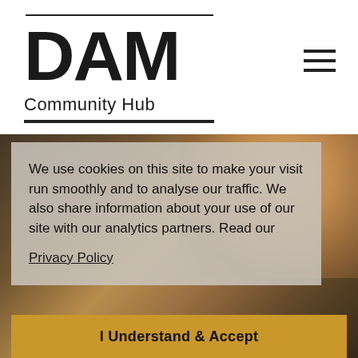[Figure (logo): DAM Community Hub logo with bold DAM text and horizontal lines above and below]
[Figure (photo): Background photo of people dining/socializing at a restaurant table, partially obscured by cookie consent overlay]
We use cookies on this site to make your visit run smoothly and to analyse our traffic. We also share information about your use of our site with our analytics partners. Read our
Privacy Policy
I Understand & Accept